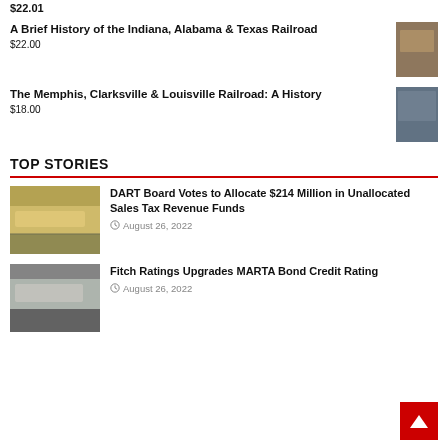$22.01
A Brief History of the Indiana, Alabama & Texas Railroad
$22.00
[Figure (photo): Book cover for A Brief History of the Indiana, Alabama & Texas Railroad]
The Memphis, Clarksville & Louisville Railroad: A History
$18.00
[Figure (photo): Book cover for The Memphis, Clarksville & Louisville Railroad: A History]
TOP STORIES
[Figure (photo): Yellow light rail train on tracks]
DART Board Votes to Allocate $214 Million in Unallocated Sales Tax Revenue Funds
August 26, 2022
[Figure (photo): Light rail train at station]
Fitch Ratings Upgrades MARTA Bond Credit Rating
August 26, 2022